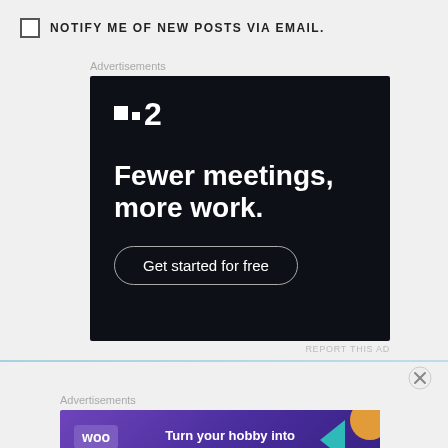NOTIFY ME OF NEW POSTS VIA EMAIL.
Advertisements
[Figure (other): Dark-themed advertisement for Fraction (F2) software: logo at top-left, headline 'Fewer meetings, more work.' and 'Get started for free' button]
REPORT THIS AD
Advertisements
[Figure (other): WooCommerce advertisement banner: 'Turn your hobby into a business in 8 steps']